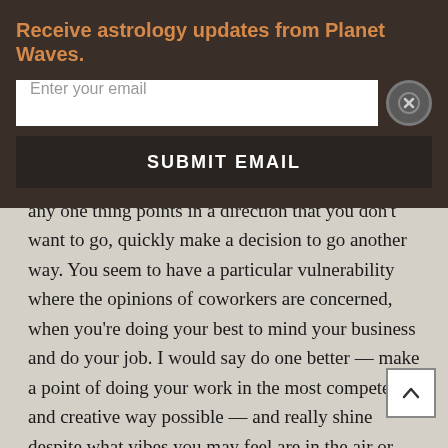Receive astrology updates from Planet Waves.
Enter your email
SUBMIT EMAIL
any one thing points in a direction that you don't want to go, quickly make a decision to go another way. You seem to have a particular vulnerability where the opinions of coworkers are concerned, when you're doing your best to mind your business and do your job. I would say do one better — make a point of doing your work in the most competent and creative way possible — and really shine despite what vibes you may feel are in the air or what anyone may think or say. Very simply, that whole head-trip is meaningless. The good part is that right now, many other elements of your life are beautifully meaningful